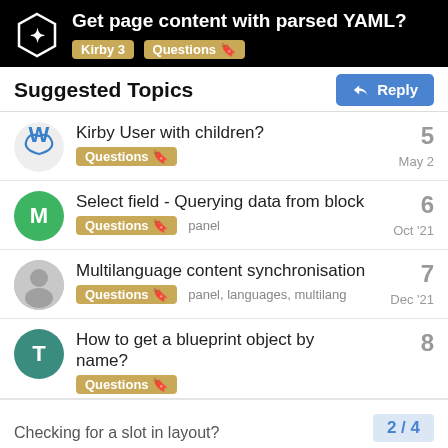Get page content with parsed YAML? Kirby 3 Questions
Suggested Topics
Kirby User with children? | Questions | 5 | May 2
Select field - Querying data from block | Questions panel | 6 | Oct '21
Multilanguage content synchronisation | Questions panel, languages, multilang | 7 | Dec '21
How to get a blueprint object by name? | Questions | 8
2 / 4
Checking for a slot in layout?